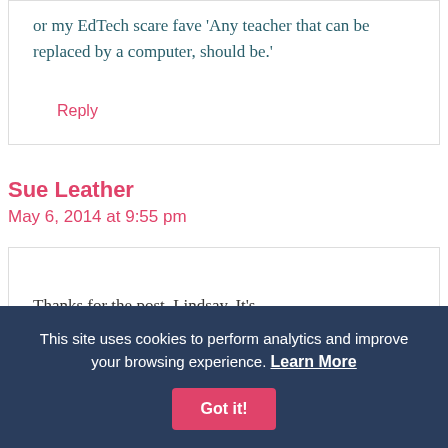or my EdTech scare fave 'Any teacher that can be replaced by a computer, should be.'
Reply
Sue Leather
May 6, 2014 at 9:55 pm
Thanks for the post, Lindsay. It's
This site uses cookies to perform analytics and improve your browsing experience. Learn More Got it!